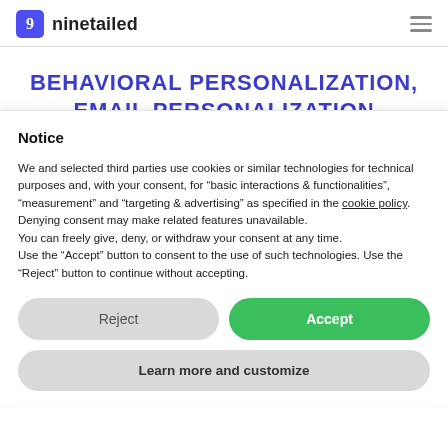ninetailed
BEHAVIORAL PERSONALIZATION, EMAIL PERSONALIZATION
Notice
We and selected third parties use cookies or similar technologies for technical purposes and, with your consent, for “basic interactions & functionalities”, “measurement” and “targeting & advertising” as specified in the cookie policy. Denying consent may make related features unavailable.
You can freely give, deny, or withdraw your consent at any time.
Use the “Accept” button to consent to the use of such technologies. Use the “Reject” button to continue without accepting.
Reject
Accept
Learn more and customize